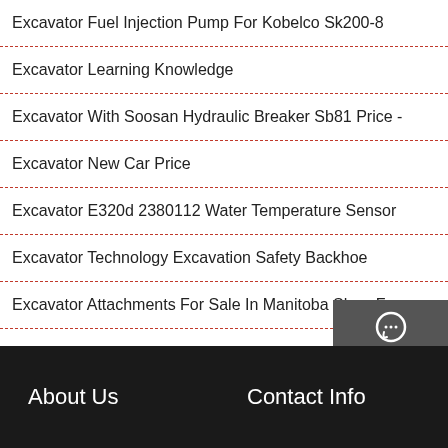Excavator Fuel Injection Pump For Kobelco Sk200-8
Excavator Learning Knowledge
Excavator With Soosan Hydraulic Breaker Sb81 Price -
Excavator New Car Price
Excavator E320d 2380112 Water Temperature Sensor
Excavator Technology Excavation Safety Backhoe
Excavator Attachments For Sale In Manitoba ShearForce
Chat
Email
Contact
About Us
Contact Info